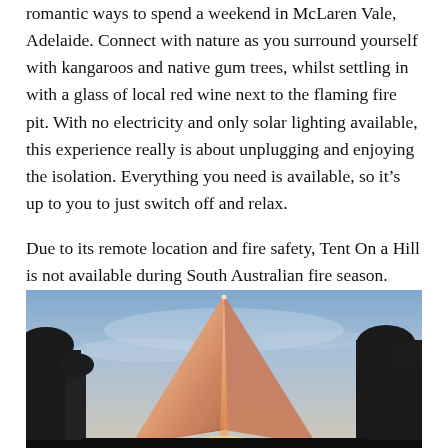romantic ways to spend a weekend in McLaren Vale, Adelaide. Connect with nature as you surround yourself with kangaroos and native gum trees, whilst settling in with a glass of local red wine next to the flaming fire pit. With no electricity and only solar lighting available, this experience really is about unplugging and enjoying the isolation. Everything you need is available, so it's up to you to just switch off and relax.
Due to its remote location and fire safety, Tent On a Hill is not available during South Australian fire season.
[Figure (photo): A glowing pyramid-shaped tent illuminated from within, photographed at dusk against a blue-purple sky with dark silhouetted trees on either side.]